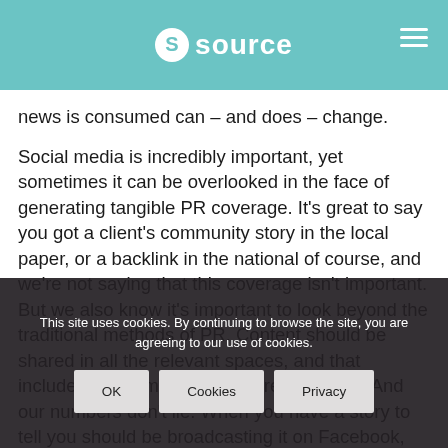source
news is consumed can – and does – change.
Social media is incredibly important, yet sometimes it can be overlooked in the face of generating tangible PR coverage. It's great to say you got a client's community story in the local paper, or a backlink in the national of course, and we're not saying that this coverage isn't important. But we also know it's important to look beyond the traditional methods of PR. Content should be shared in all the relevant spaces, and that includes social media now more than ever. And our numbers don't lie. When you have a story to tell you should be broadcasting it on Facebook, Twitter,
This site uses cookies. By continuing to browse the site, you are agreeing to our use of cookies.